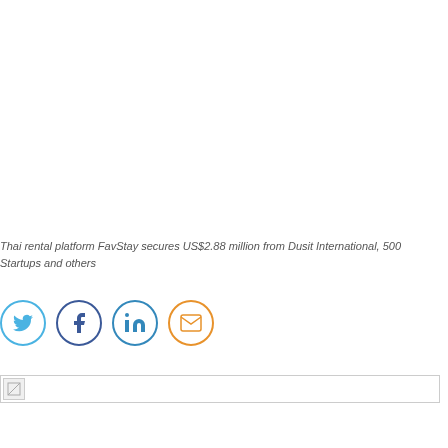Thai rental platform FavStay secures US$2.88 million from Dusit International, 500 Startups and others
[Figure (other): Social media sharing icons: Twitter (blue bird), Facebook (dark blue f), LinkedIn (blue in), Email (orange envelope) - all in circular outlines]
[Figure (photo): Broken/missing image placeholder at the bottom of the page]